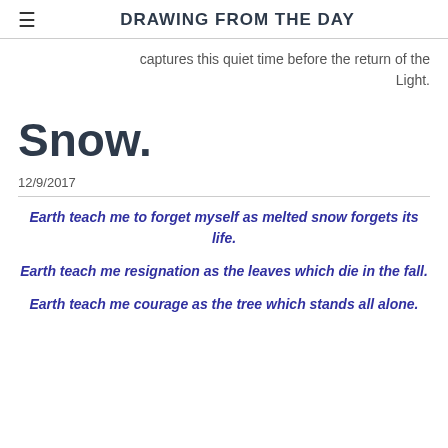DRAWING FROM THE DAY
captures this quiet time before the return of the Light.
Snow.
12/9/2017
Earth teach me to forget myself as melted snow forgets its life.
Earth teach me resignation as the leaves which die in the fall.
Earth teach me courage as the tree which stands all alone.